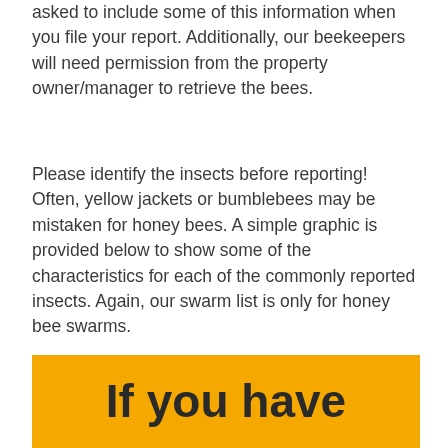asked to include some of this information when you file your report. Additionally, our beekeepers will need permission from the property owner/manager to retrieve the bees.
Please identify the insects before reporting! Often, yellow jackets or bumblebees may be mistaken for honey bees. A simple graphic is provided below to show some of the characteristics for each of the commonly reported insects. Again, our swarm list is only for honey bee swarms.
If you have